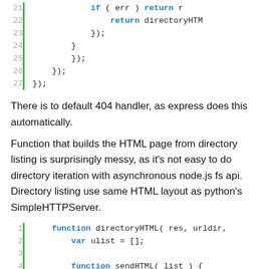[Figure (screenshot): Code block showing lines 21-27 of JavaScript with closing braces and return statements]
There is to default 404 handler, as express does this automatically.
Function that builds the HTML page from directory listing is surprisingly messy, as it's not easy to do directory iteration with asynchronous node.js fs api. Directory listing use same HTML layout as python's SimpleHTTPServer.
[Figure (screenshot): Code block showing lines 1-7 of directoryHTML function definition in JavaScript]